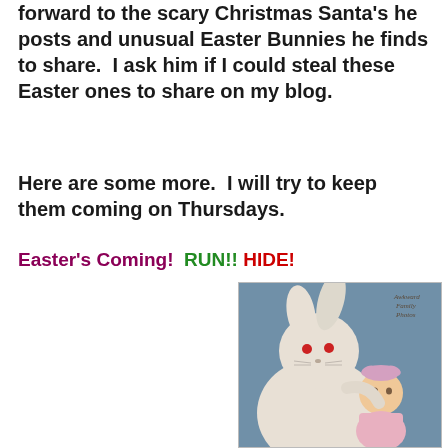forward to the scary Christmas Santa's he posts and unusual Easter Bunnies he finds to share.  I ask him if I could steal these Easter ones to share on my blog.
Here are some more.  I will try to keep them coming on Thursdays.
Easter's Coming!  RUN!!  HIDE!
[Figure (photo): A person in a creepy Easter Bunny costume made from white cloth with red dot eyes, holding a young toddler girl in a pink dress. Background is blue-grey. Watermark reads 'Awkward Family Photos' in top right corner.]